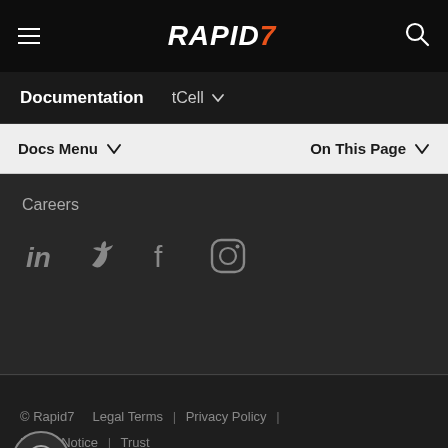Rapid7 — Documentation tCell
Docs Menu ∨   On This Page ∨
Careers
[Figure (other): Social media icons: LinkedIn, Twitter, Facebook, Instagram]
© Rapid7  Legal Terms | Privacy Policy | Export Notice | Trust